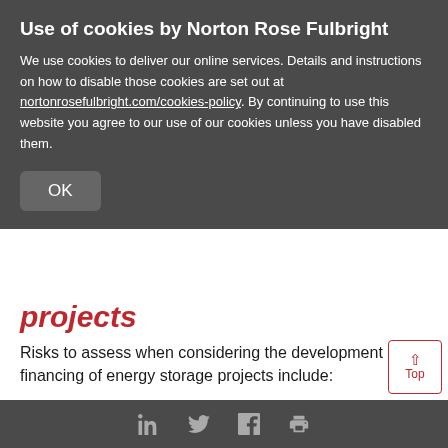Use of cookies by Norton Rose Fulbright
We use cookies to deliver our online services. Details and instructions on how to disable those cookies are set out at nortonrosefulbright.com/cookies-policy. By continuing to use this website you agree to our use of our cookies unless you have disabled them.
projects
Risks to assess when considering the development and financing of energy storage projects include:
Construction risk: for large scale battery projects, this is generally regarded as much lower than other new technologies. In general these are containerised solutions which are modular, with limited construction activities
Social share icons: LinkedIn, Twitter, Facebook, Print